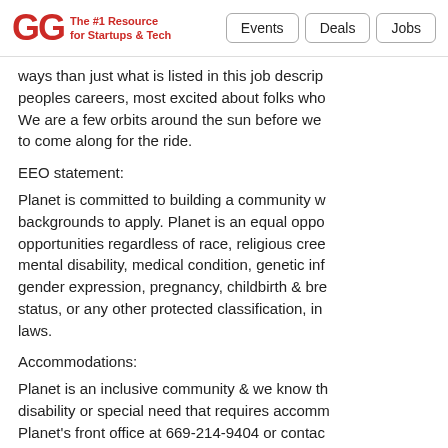GG — The #1 Resource for Startups & Tech | Events | Deals | Jobs
ways than just what is listed in this job description. peoples careers, most excited about folks who. We are a few orbits around the sun before we to come along for the ride.
EEO statement:
Planet is committed to building a community w backgrounds to apply. Planet is an equal oppo opportunities regardless of race, religious cree mental disability, medical condition, genetic inf gender expression, pregnancy, childbirth & bre status, or any other protected classification, in laws.
Accommodations:
Planet is an inclusive community & we know th disability or special need that requires accomm Planet's front office at 669-214-9404 or contac confidential & we will be happy to assist you.
Privacy Policy: By clicking "Apply Now" at the